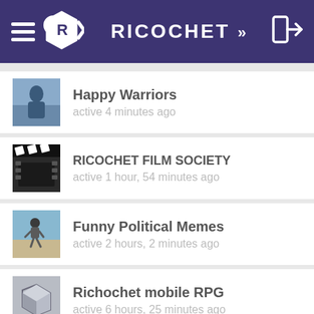RICOCHET >>
Happy Warriors
active 4 minutes ago
RICOCHET FILM SOCIETY
active 1 hour, 54 minutes ago
Funny Political Memes
active 2 hours, 2 minutes ago
Richochet mobile RPG
active 6 hours, 25 minutes ago
What Are You Listening To
active 11 hours, 17 minutes ago